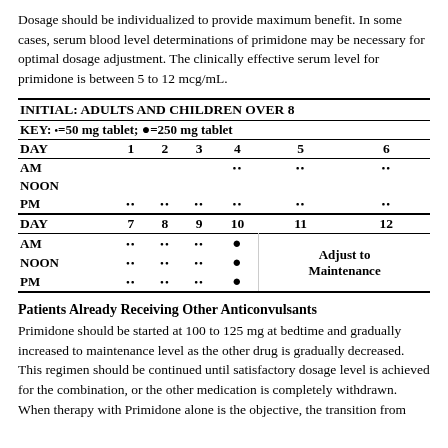Dosage should be individualized to provide maximum benefit. In some cases, serum blood level determinations of primidone may be necessary for optimal dosage adjustment. The clinically effective serum level for primidone is between 5 to 12 mcg/mL.
| DAY | 1 | 2 | 3 | 4 | 5 | 6 |
| --- | --- | --- | --- | --- | --- | --- |
| INITIAL: ADULTS AND CHILDREN OVER 8 |  |  |  |  |  |  |
| KEY: •=50 mg tablet; •=250 mg tablet |  |  |  |  |  |  |
| AM |  |  |  | •• | •• | •• |
| NOON |  |  |  |  |  |  |
| PM | •• | •• | •• | •• | •• | •• |
| DAY | 7 | 8 | 9 | 10 | 11 | 12 |
| AM | •• | •• | •• | • | Adjust to Maintenance |  |
| NOON | •• | •• | •• | • |  |  |
| PM | •• | •• | •• | • |  |  |
Patients Already Receiving Other Anticonvulsants
Primidone should be started at 100 to 125 mg at bedtime and gradually increased to maintenance level as the other drug is gradually decreased. This regimen should be continued until satisfactory dosage level is achieved for the combination, or the other medication is completely withdrawn. When therapy with Primidone alone is the objective, the transition from...